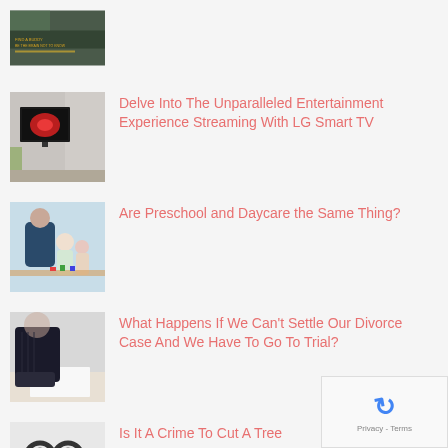[Figure (photo): Dark image with text overlay, partially visible at top of page]
[Figure (photo): LG Smart TV mounted on wall displaying red abstract image, with plants nearby]
Delve Into The Unparalleled Entertainment Experience Streaming With LG Smart TV
[Figure (photo): Adult and children doing arts and crafts at a table (preschool/daycare setting)]
Are Preschool and Daycare the Same Thing?
[Figure (photo): Person in business suit at desk with papers (divorce/legal setting)]
What Happens If We Can't Settle Our Divorce Case And We Have To Go To Trial?
[Figure (photo): Handcuffs on white background (crime/legal setting)]
Is It A Crime To Cut A Tree